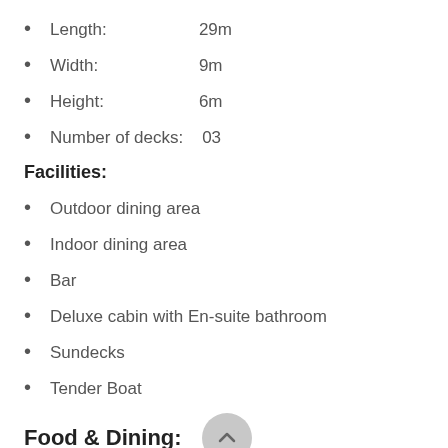Length:    29m
Width:    9m
Height:    6m
Number of decks:    03
Facilities:
Outdoor dining area
Indoor dining area
Bar
Deluxe cabin with En-suite bathroom
Sundecks
Tender Boat
Food & Dining:
After some enjoyable kayaking, there is no better way of